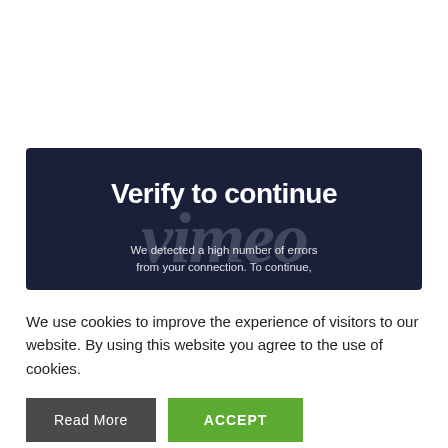[Figure (screenshot): Dark navy banner with 'Verify to continue' heading in bold white text, overlaid with large italic 'vimeo' watermark text, and partial cookie/error message text below]
We use cookies to improve the experience of visitors to our website. By using this website you agree to the use of cookies.
Read More
ACCEPT